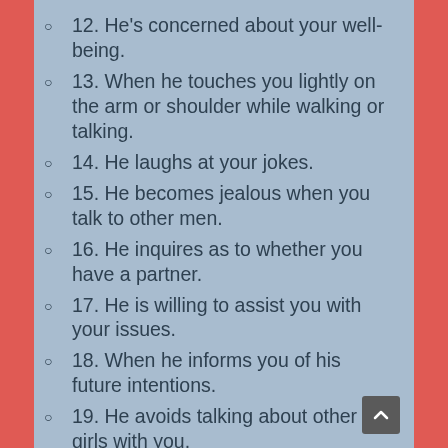12. He's concerned about your well-being.
13. When he touches you lightly on the arm or shoulder while walking or talking.
14. He laughs at your jokes.
15. He becomes jealous when you talk to other men.
16. He inquires as to whether you have a partner.
17. He is willing to assist you with your issues.
18. When he informs you of his future intentions.
19. He avoids talking about other girls with you.
20. When he tries to impress you regularly.
21. He will consider your feelings.
22. He says how he feels about you.
23. He will remember important events and